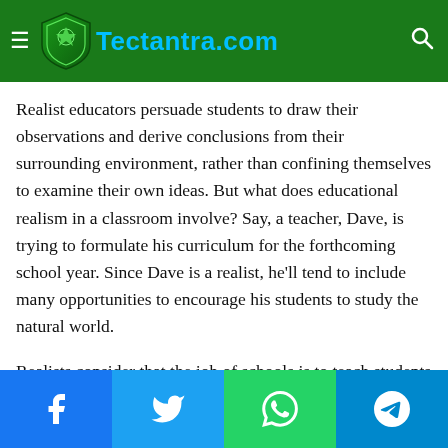Tectantra.com
Realist educators persuade students to draw their observations and derive conclusions from their surrounding environment, rather than confining themselves to examine their own ideas. But what does educational realism in a classroom involve? Say, a teacher, Dave, is trying to formulate his curriculum for the forthcoming school year. Since Dave is a realist, he'll tend to include many opportunities to encourage his students to study the natural world.
Realists consider that the job of schools is to teach students about their surrounding world. This means Dave is likely to teach his students ways to use logical processes to find truth
Facebook Twitter WhatsApp Telegram